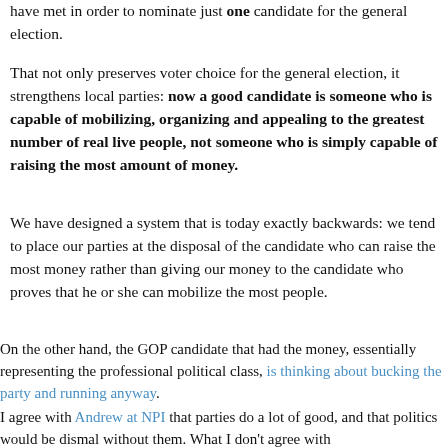have met in order to nominate just one candidate for the general election.
That not only preserves voter choice for the general election, it strengthens local parties: now a good candidate is someone who is capable of mobilizing, organizing and appealing to the greatest number of real live people, not someone who is simply capable of raising the most amount of money.
We have designed a system that is today exactly backwards: we tend to place our parties at the disposal of the candidate who can raise the most money rather than giving our money to the candidate who proves that he or she can mobilize the most people.
On the other hand, the GOP candidate that had the money, essentially representing the professional political class, is thinking about bucking the party and running anyway.
I agree with Andrew at NPI that parties do a lot of good, and that politics would be dismal without them. What I don't agree with